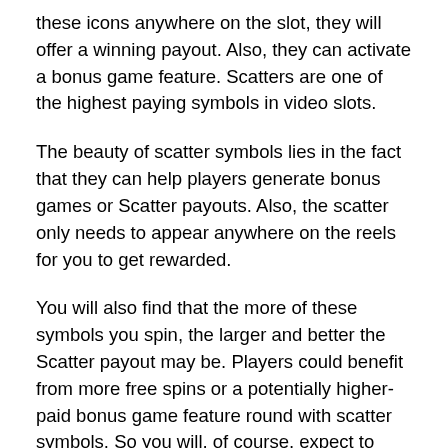these icons anywhere on the slot, they will offer a winning payout. Also, they can activate a bonus game feature. Scatters are one of the highest paying symbols in video slots.
The beauty of scatter symbols lies in the fact that they can help players generate bonus games or Scatter payouts. Also, the scatter only needs to appear anywhere on the reels for you to get rewarded.
You will also find that the more of these symbols you spin, the larger and better the Scatter payout may be. Players could benefit from more free spins or a potentially higher-paid bonus game feature round with scatter symbols. So you will, of course, expect to have at least one scatter symbol appearing on each reel when the reels eventually come to a stop!